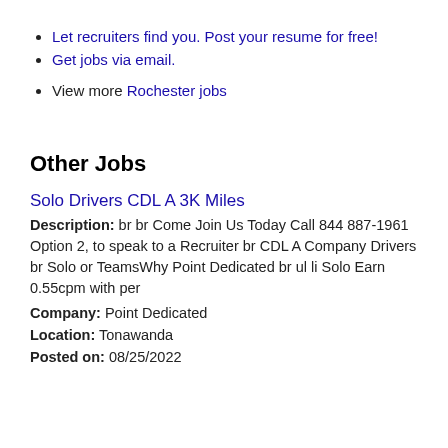Let recruiters find you. Post your resume for free!
Get jobs via email.
View more Rochester jobs
Other Jobs
Solo Drivers CDL A 3K Miles
Description: br br Come Join Us Today Call 844 887-1961 Option 2, to speak to a Recruiter br CDL A Company Drivers br Solo or TeamsWhy Point Dedicated br ul li Solo Earn 0.55cpm with per
Company: Point Dedicated
Location: Tonawanda
Posted on: 08/25/2022